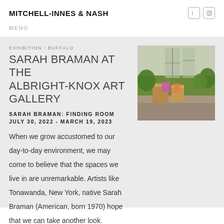MITCHELL-INNES & NASH
MENU
EXHIBITION / BUFFALO
SARAH BRAMAN AT THE ALBRIGHT-KNOX ART GALLERY
SARAH BRAMAN: FINDING ROOM
JULY 30, 2022 - MARCH 19, 2023
[Figure (photo): Outdoor sculpture installation with wooden block forms and colorful acrylic elements on a stone patio, surrounded by green grass and large windows]
When we grow accustomed to our day-to-day environment, we may come to believe that the spaces we live in are unremarkable. Artists like Tonawanda, New York, native Sarah Braman (American, born 1970) hope that we can take another look. Braman encourages us to think about